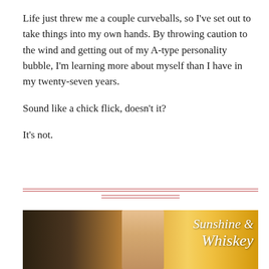Life just threw me a couple curveballs, so I've set out to take things into my own hands. By throwing caution to the wind and getting out of my A-type personality bubble, I'm learning more about myself than I have in my twenty-seven years.
Sound like a chick flick, doesn't it?
It's not.
[Figure (illustration): Book cover image for 'Sunshine & Whiskey' showing a woman's legs in a warm golden sunset light with the stylized italic title text on the right side]